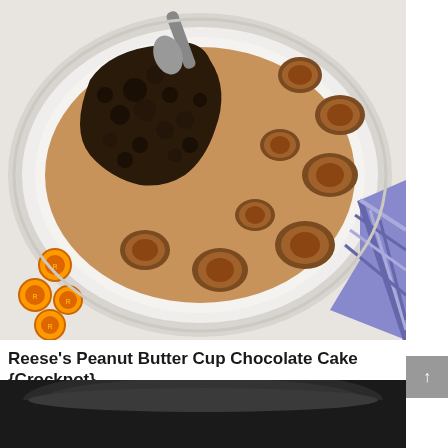[Figure (photo): Overhead view of a Reese's Peanut Butter Cup Chocolate Cake on a white oval plate, showing a partially served cake with dark chocolate crumble on one side and peanut butter frosting topped with Reese's peanut butter cups on the other side, with a blue gingham napkin and Reese's candies in wrappers around the plate.]
Reese's Peanut Butter Cup Chocolate Cake {Crockpot}
[Figure (photo): Partial view of the bottom of a dark crockpot/slow cooker.]